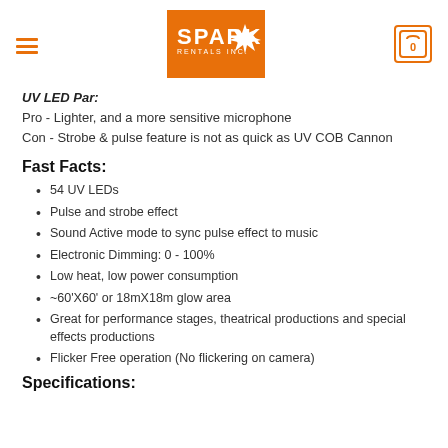SPARK RENTALS INC. [logo] [hamburger menu] [cart icon 0]
UV LED Par:
Pro - Lighter, and a more sensitive microphone
Con - Strobe & pulse feature is not as quick as UV COB Cannon
Fast Facts:
54 UV LEDs
Pulse and strobe effect
Sound Active mode to sync pulse effect to music
Electronic Dimming: 0 - 100%
Low heat, low power consumption
~60'X60' or 18mX18m glow area
Great for performance stages, theatrical productions and special effects productions
Flicker Free operation (No flickering on camera)
Specifications: